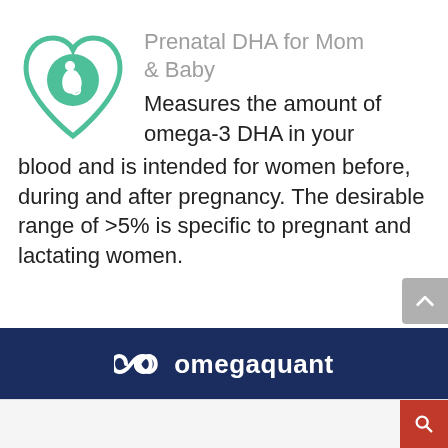[Figure (illustration): Green heart-shaped icon containing an outline of a pregnant woman with fetus inside]
Prenatal DHA for Mom & Baby
Measures the amount of omega-3 DHA in your blood and is intended for women before, during and after pregnancy. The desirable range of >5% is specific to pregnant and lactating women.
[Figure (logo): OmegaQuant logo — infinity symbol followed by 'omegaquant' in white on dark navy background]